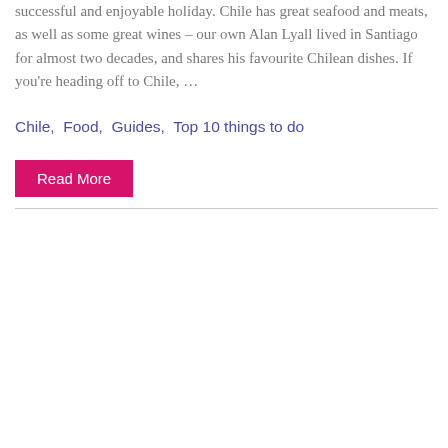successful and enjoyable holiday. Chile has great seafood and meats, as well as some great wines – our own Alan Lyall lived in Santiago for almost two decades, and shares his favourite Chilean dishes. If you're heading off to Chile, …
Chile,  Food,  Guides,  Top 10 things to do
Read More